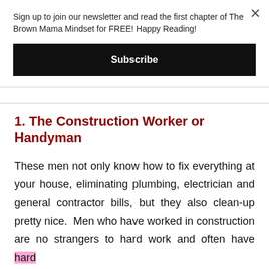Sign up to join our newsletter and read the first chapter of The Brown Mama Mindset for FREE! Happy Reading!
Subscribe
1. The Construction Worker or Handyman
These men not only know how to fix everything at your house, eliminating plumbing, electrician and general contractor bills, but they also clean-up pretty nice. Men who have worked in construction are no strangers to hard work and often have hard